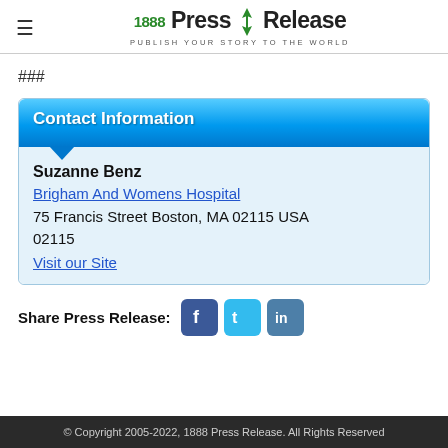1888 Press Release — PUBLISH YOUR STORY TO THE WORLD
###
Contact Information
Suzanne Benz
Brigham And Womens Hospital
75 Francis Street Boston, MA 02115 USA
02115
Visit our Site
Share Press Release:
© Copyright 2005-2022, 1888 Press Release. All Rights Reserved